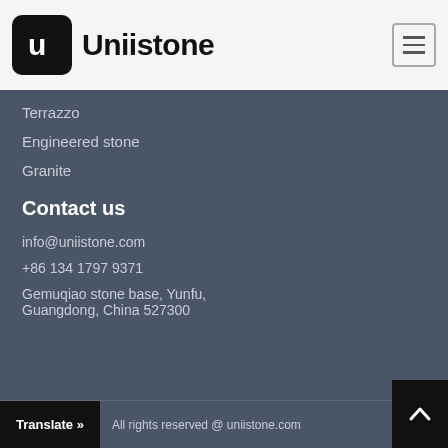[Figure (logo): Uniistone logo with black rounded square icon containing white U letter and bold text 'Uniistone']
Terrazzo
Engineered stone
Granite
Contact us
info@uniistone.com
+86 134 1797 9371
Gemuqiao stone base, Yunfu, Guangdong, China 527300
Translate »  All rights reserved @ uniistone.com